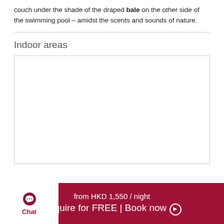couch under the shade of the draped bale on the other side of the swimming pool – amidst the scents and sounds of nature.
Indoor areas
[Figure (photo): Large white image placeholder for indoor areas photo]
from HKD 1,550 / night  Enquire for FREE | Book now ⊙  Chat